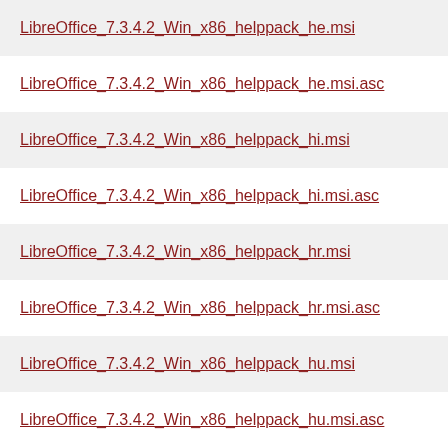LibreOffice_7.3.4.2_Win_x86_helppack_he.msi
LibreOffice_7.3.4.2_Win_x86_helppack_he.msi.asc
LibreOffice_7.3.4.2_Win_x86_helppack_hi.msi
LibreOffice_7.3.4.2_Win_x86_helppack_hi.msi.asc
LibreOffice_7.3.4.2_Win_x86_helppack_hr.msi
LibreOffice_7.3.4.2_Win_x86_helppack_hr.msi.asc
LibreOffice_7.3.4.2_Win_x86_helppack_hu.msi
LibreOffice_7.3.4.2_Win_x86_helppack_hu.msi.asc